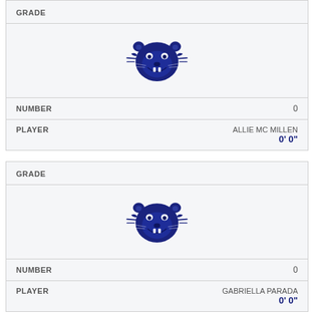GRADE
[Figure (logo): Team panther mascot logo in dark navy blue]
NUMBER   0
PLAYER   ALLIE MC MILLEN   0' 0"
GRADE
[Figure (logo): Team panther mascot logo in dark navy blue]
NUMBER   0
PLAYER   GABRIELLA PARADA   0' 0"